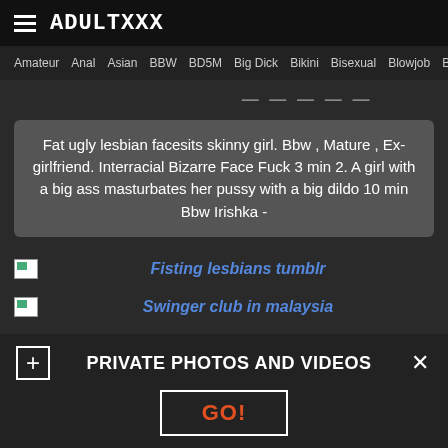ADULTXXX
Amateur  Anal  Asian  BBW  BD5M  Big Dick  Bikini  Bisexual  Blowjob  Boobs
Fat ugly lesbian facesits skinny girl. Bbw , Mature , Ex-girlfriend. Interracial Bizarre Face Fuck 3 min 2. A girl with a big ass masturbates her pussy with a big dildo 10 min Bbw Irishka -
Fisting lesbians tumblr
Swinger club in malaysia
PRIVATE PHOTOS AND VIDEOS
GO!